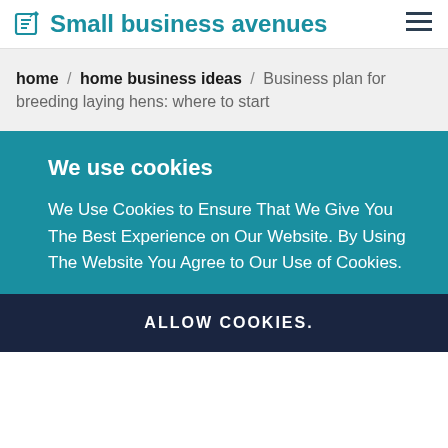Small business avenues
home / home business ideas / Business plan for breeding laying hens: where to start
We use cookies
We Use Cookies to Ensure That We Give You The Best Experience on Our Website. By Using The Website You Agree to Our Use of Cookies.
ALLOW COOKIES.